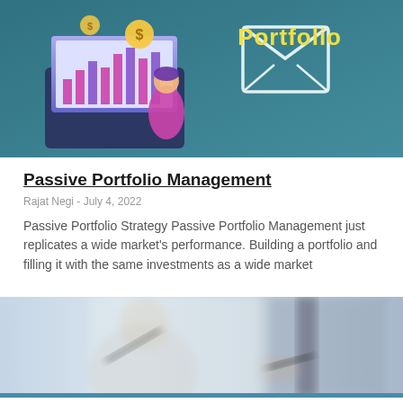[Figure (illustration): Banner illustration with teal background showing a person with a laptop displaying a bar chart with dollar signs, and an envelope icon. Large bold yellow text reads 'Portfolio' on the right side.]
Passive Portfolio Management
Rajat Negi - July 4, 2022
Passive Portfolio Strategy Passive Portfolio Management just replicates a wide market's performance. Building a portfolio and filling it with the same investments as a wide market
[Figure (photo): Blurred photo of two people in business setting, one person holding a pen, appearing to be in a meeting or signing documents. A blue bar appears at the bottom.]